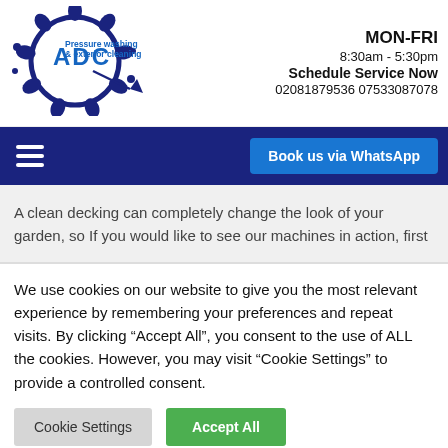[Figure (logo): ADC Pressure washing & exterior cleaning circular logo with splash design in dark blue and blue text]
MON-FRI
8:30am - 5:30pm
Schedule Service Now
02081879536 07533087078
[Figure (infographic): Dark navy navigation bar with hamburger menu icon on left and 'Book us via WhatsApp' blue button on right]
A clean decking can completely change the look of your garden, so If you would like to see our machines in action, first
We use cookies on our website to give you the most relevant experience by remembering your preferences and repeat visits. By clicking "Accept All", you consent to the use of ALL the cookies. However, you may visit "Cookie Settings" to provide a controlled consent.
Cookie Settings
Accept All